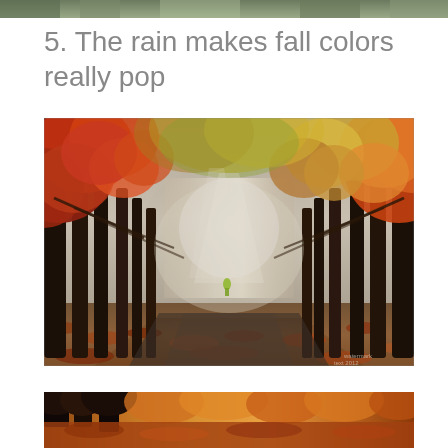[Figure (photo): Top strip showing treetops or foliage, partially visible at the very top of the page]
5. The rain makes fall colors really pop
[Figure (photo): A misty autumn tree-lined path with brilliant red, orange, and yellow foliage on both sides forming a tunnel. Fallen leaves cover the ground. A small figure in yellow is visible in the foggy distance. Small watermark text visible in bottom right corner.]
[Figure (photo): Bottom partial photo showing autumn leaves and trees with warm orange and brown tones, cropped at bottom of page]